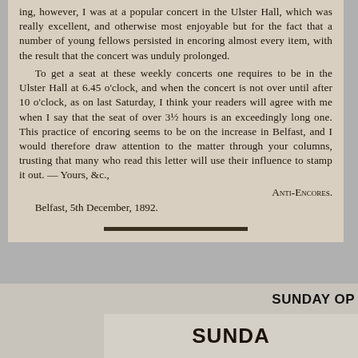ing, however, I was at a popular concert in the Ulster Hall, which was really excellent, and otherwise most enjoyable but for the fact that a number of young fellows persisted in encoring almost every item, with the result that the concert was unduly prolonged. To get a seat at these weekly concerts one requires to be in the Ulster Hall at 6.45 o'clock, and when the concert is not over until after 10 o'clock, as on last Saturday, I think your readers will agree with me when I say that the seat of over 3½ hours is an exceedingly long one. This practice of encoring seems to be on the increase in Belfast, and I would therefore draw attention to the matter through your columns, trusting that many who read this letter will use their influence to stamp it out. — Yours, &c., ANTI-ENCORES. Belfast, 5th December, 1892.
SUNDAY OP
[Figure (other): Partial view of a newspaper clipping showing the text 'SUNDA' in large bold letters]